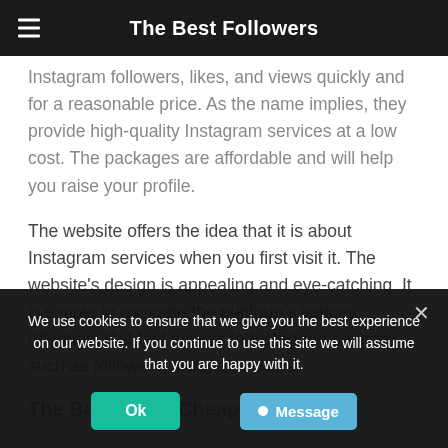The Best Followers
Instagram followers, likes, and views quickly and for a reasonable price. As the name implies, they provide high-quality Instagram services at a low cost. The packages are affordable and will help you raise your profile.
The website offers the idea that it is about Instagram services when you first visit it. The website’s design is appealing and eye-catching. It is simple to navigate the platform’s various offerings. Get fast access to Instagram services such as followers, likes, and views.
The Benefits of CheapIGFoll...
We use cookies to ensure that we give you the best experience on our website. If you continue to use this site we will assume that you are happy with it.